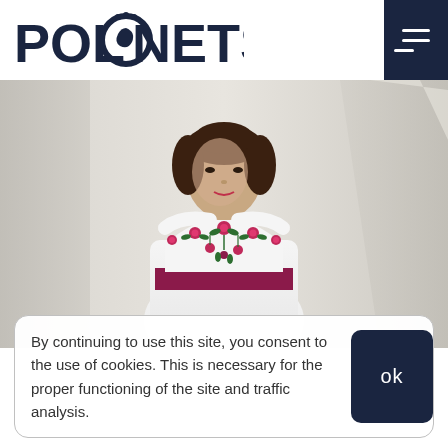[Figure (logo): POLONETS logo with stylized peacock/swirl O letter in dark navy blue]
[Figure (photo): Young woman wearing a white dress with colorful floral embroidery on the neckline and a dark pink/magenta sash belt, standing in a bright room]
By continuing to use this site, you consent to the use of cookies. This is necessary for the proper functioning of the site and traffic analysis.